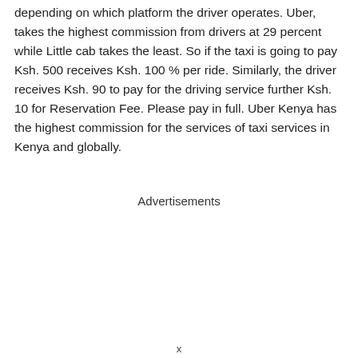depending on which platform the driver operates. Uber, takes the highest commission from drivers at 29 percent while Little cab takes the least. So if the taxi is going to pay Ksh. 500 receives Ksh. 100 % per ride. Similarly, the driver receives Ksh. 90 to pay for the driving service further Ksh. 10 for Reservation Fee. Please pay in full. Uber Kenya has the highest commission for the services of taxi services in Kenya and globally.
Advertisements
x